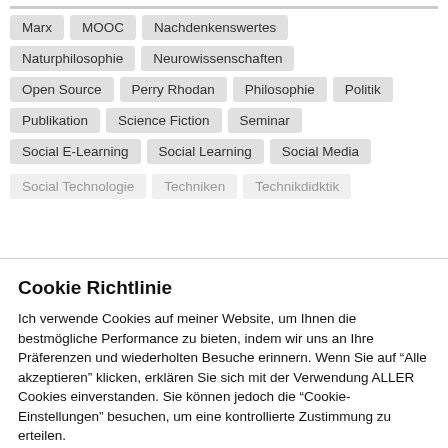Marx | MOOC | Nachdenkenswertes
Naturphilosophie | Neurowissenschaften
Open Source | Perry Rhodan | Philosophie | Politik
Publikation | Science Fiction | Seminar
Social E-Learning | Social Learning | Social Media
[partial tags row]
Cookie Richtlinie
Ich verwende Cookies auf meiner Website, um Ihnen die bestmögliche Performance zu bieten, indem wir uns an Ihre Präferenzen und wiederholten Besuche erinnern. Wenn Sie auf "Alle akzeptieren" klicken, erklären Sie sich mit der Verwendung ALLER Cookies einverstanden. Sie können jedoch die "Cookie-Einstellungen" besuchen, um eine kontrollierte Zustimmung zu erteilen.
Einstellungen | Alles akzeptieren